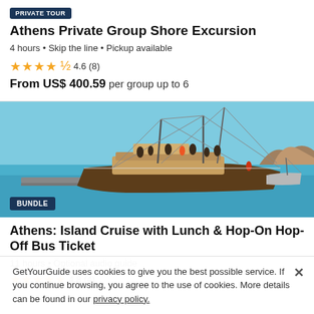PRIVATE TOUR
Athens Private Group Shore Excursion
4 hours • Skip the line • Pickup available
4.6 (8)
From US$ 400.59 per group up to 6
[Figure (photo): A large wooden sailboat/yacht on blue water with passengers aboard, near a rocky island shore. Masts visible against a clear sky.]
BUNDLE
Athens: Island Cruise with Lunch & Hop-On Hop-Off Bus Ticket
11 hours • Optional audio guide
4.8 (4)
GetYourGuide uses cookies to give you the best possible service. If you continue browsing, you agree to the use of cookies. More details can be found in our privacy policy.